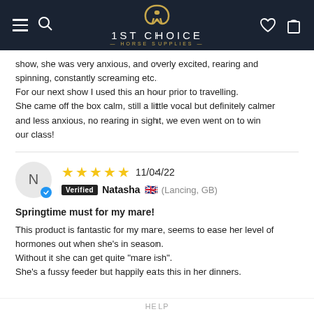1ST CHOICE HORSE SUPPLIES
show, she was very anxious, and overly excited, rearing and spinning, constantly screaming etc.
For our next show I used this an hour prior to travelling.
She came off the box calm, still a little vocal but definitely calmer and less anxious, no rearing in sight, we even went on to win our class!
★★★★★ 11/04/22  Verified Natasha (Lancing, GB)
Springtime must for my mare!
This product is fantastic for my mare, seems to ease her level of hormones out when she's in season.
Without it she can get quite "mare ish".
She's a fussy feeder but happily eats this in her dinners.
HELP